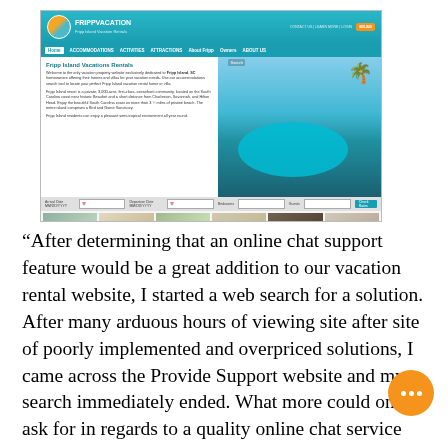[Figure (screenshot): Screenshot of FrippVacation website showing vacation rental homepage with logo, navigation, body text about Fripp Island Vacations Rentals, pool image, search bar, property thumbnails, and footer.]
“After determining that an online chat support feature would be a great addition to our vacation rental website, I started a web search for a solution. After many arduous hours of viewing site after site of poorly implemented and overpriced solutions, I came across the Provide Support website and my search immediately ended. What more could one ask for in regards to a quality online chat service than what Provide Support offers? I immediately
[Figure (illustration): Orange circular chat bubble icon with three white dots, indicating a live chat widget.]